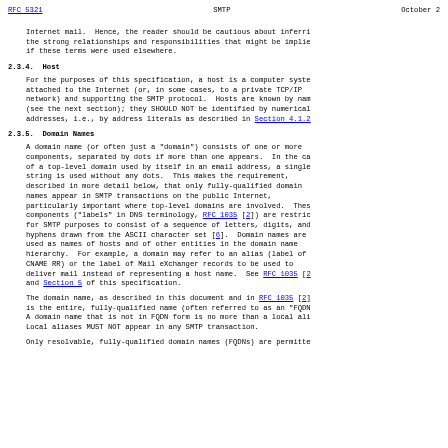RFC 5321    SMTP    October 2
Internet mail.  Hence, the reader should be cautious about inferri the strong relationships and responsibilities that might be implie if these terms were used elsewhere.
2.3.4.  Host
For the purposes of this specification, a host is a computer syste attached to the Internet (or, in some cases, to a private TCP/IP network) and supporting the SMTP protocol.  Hosts are known by nam (see the next section); they SHOULD NOT be identified by numerical addresses, i.e., by address literals as described in Section 4.1.2
2.3.5.  Domain Names
A domain name (or often just a "domain") consists of one or more components, separated by dots if more than one appears.  In the ca of a top-level domain used by itself in an email address, a single string is used without any dots.  This makes the requirement, described in more detail below, that only fully-qualified domain names appear in SMTP transactions on the public Internet, particularly important where top-level domains are involved.  Thes components ("labels" in DNS terminology, RFC 1035 [2]) are restric for SMTP purposes to consist of a sequence of letters, digits, and hyphens drawn from the ASCII character set [6].  Domain names are used as names of hosts and of other entities in the domain name hierarchy.  For example, a domain may refer to an alias (label of CNAME RR) or the label of Mail eXchanger records to be used to deliver mail instead of representing a host name.  See RFC 1035 [2 and Section 5 of this specification.
The domain name, as described in this document and in RFC 1035 [2] is the entire, fully-qualified name (often referred to as an "FQDN A domain name that is not in FQDN form is no more than a local ali Local aliases MUST NOT appear in any SMTP transaction.
Only resolvable, fully-qualified domain names (FQDNs) are permitte